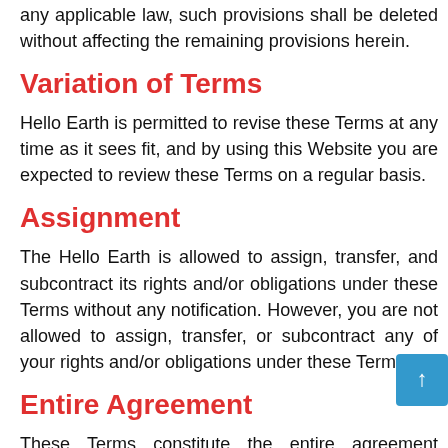any applicable law, such provisions shall be deleted without affecting the remaining provisions herein.
Variation of Terms
Hello Earth is permitted to revise these Terms at any time as it sees fit, and by using this Website you are expected to review these Terms on a regular basis.
Assignment
The Hello Earth is allowed to assign, transfer, and subcontract its rights and/or obligations under these Terms without any notification. However, you are not allowed to assign, transfer, or subcontract any of your rights and/or obligations under these Terms.
Entire Agreement
These Terms constitute the entire agreement between Hello Earth and you in relation to your use of this Website, and supersede all prior agreements and understandin…
Governing Law & Jurisdiction